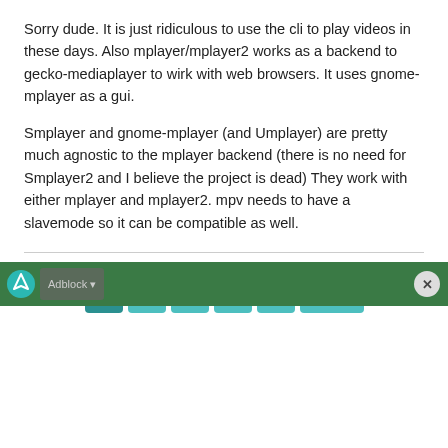Sorry dude. It is just ridiculous to use the cli to play videos in these days. Also mplayer/mplayer2 works as a backend to gecko-mediaplayer to wirk with web browsers. It uses gnome-mplayer as a gui.
Smplayer and gnome-mplayer (and Umplayer) are pretty much agnostic to the mplayer backend (there is no need for Smplayer2 and I believe the project is dead) They work with either mplayer and mplayer2. mpv needs to have a slavemode so it can be compatible as well.
[Figure (other): Pagination navigation with page buttons: 1 (active/darker), 2, 3, 4, 6, and Next button, all in teal/cyan color]
[Figure (other): Green advertisement bar at bottom with a logo icon on the left and a close (X) button on the right]